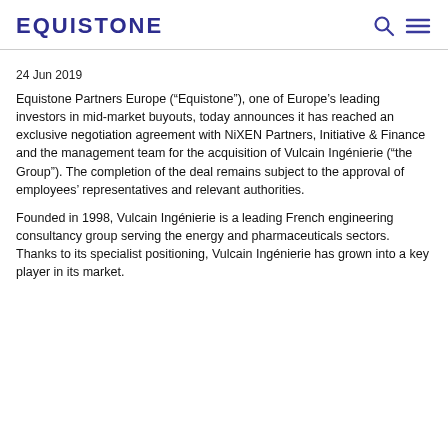EQUISTONE
24 Jun 2019
Equistone Partners Europe (“Equistone”), one of Europe’s leading investors in mid-market buyouts, today announces it has reached an exclusive negotiation agreement with NiXEN Partners, Initiative & Finance and the management team for the acquisition of Vulcain Ingénierie (“the Group”). The completion of the deal remains subject to the approval of employees’ representatives and relevant authorities.
Founded in 1998, Vulcain Ingénierie is a leading French engineering consultancy group serving the energy and pharmaceuticals sectors. Thanks to its specialist positioning, Vulcain Ingénierie has grown into a key player in its market.